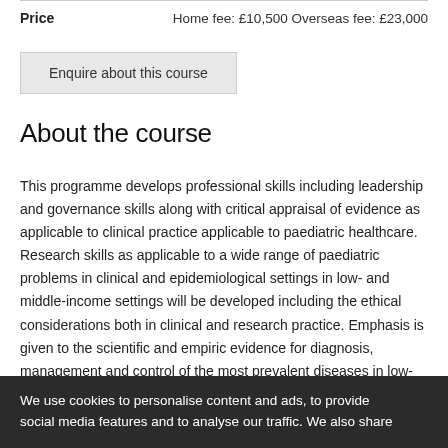| Price |  |
| --- | --- |
| Price | Home fee: £10,500 Overseas fee: £23,000 |
Enquire about this course
About the course
This programme develops professional skills including leadership and governance skills along with critical appraisal of evidence as applicable to clinical practice applicable to paediatric healthcare. Research skills as applicable to a wide range of paediatric problems in clinical and epidemiological settings in low- and middle-income settings will be developed including the ethical considerations both in clinical and research practice. Emphasis is given to the scientific and empiric evidence for diagnosis, management and control of the most prevalent diseases in low- and middle-income settings, with particular reference to high burden diseases such as tuberculosis, HIV and malaria, from a public health and clinical
We use cookies to personalise content and ads, to provide social media features and to analyse our traffic. We also share